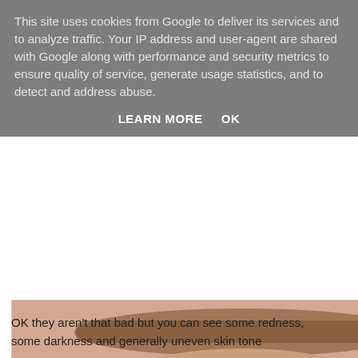This site uses cookies from Google to deliver its services and to analyze traffic. Your IP address and user-agent are shared with Google along with performance and security metrics to ensure quality of service, generate usage statistics, and to detect and address abuse.
LEARN MORE    OK
[Figure (photo): Close-up photo of a human eye showing the upper and lower eyelid area, with some redness and uneven skin tone visible. A Photobucket watermark is overlaid on the image. The text 'LouLouLand' appears at the bottom right of the photo.]
OK they aren't that bad but you can see some redness, some darkness and generally uneven skin tone